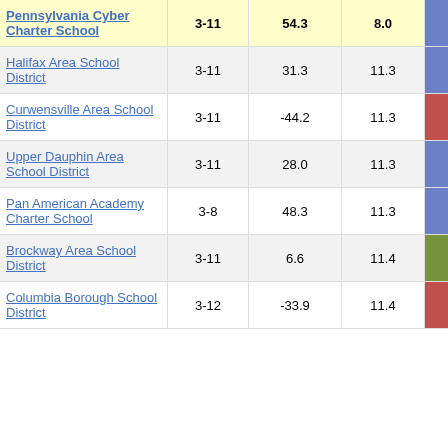| School/District | Grades | Score Diff | Avg Diff | Value |
| --- | --- | --- | --- | --- |
| Pennsylvania Cyber Charter School | 3-11 | 54.3 | 8.0 | 6.80 |
| Halifax Area School District | 3-11 | 31.3 | 11.3 | 2.77 |
| Curwensville Area School District | 3-11 | -44.2 | 11.3 | -3.91 |
| Upper Dauphin Area School District | 3-11 | 28.0 | 11.3 | 2.47 |
| Pan American Academy Charter School | 3-8 | 48.3 | 11.3 | 4.26 |
| Brockway Area School District | 3-11 | 6.6 | 11.4 | 0.58 |
| Columbia Borough School District | 3-12 | -33.9 | 11.4 | -2.98 |